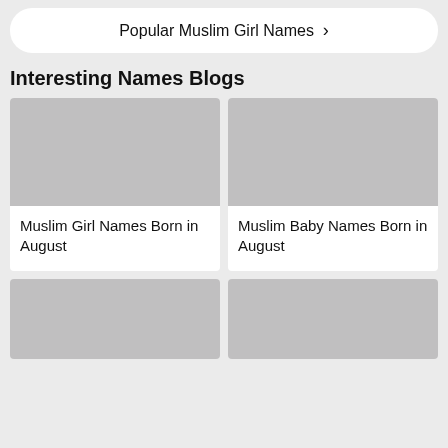Popular Muslim Girl Names ›
Interesting Names Blogs
[Figure (other): Grey placeholder image for blog card 1 (Muslim Girl Names Born in August)]
Muslim Girl Names Born in August
[Figure (other): Grey placeholder image for blog card 2 (Muslim Baby Names Born in August)]
Muslim Baby Names Born in August
[Figure (other): Grey placeholder image for blog card 3 (bottom left, title not shown)]
[Figure (other): Grey placeholder image for blog card 4 (bottom right, title not shown)]